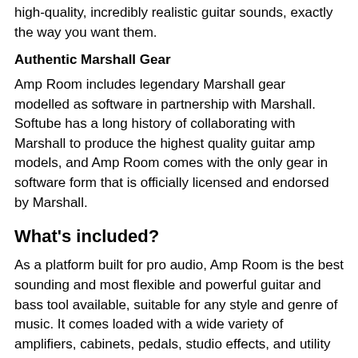high-quality, incredibly realistic guitar sounds, exactly the way you want them.
Authentic Marshall Gear
Amp Room includes legendary Marshall gear modelled as software in partnership with Marshall. Softube has a long history of collaborating with Marshall to produce the highest quality guitar amp models, and Amp Room comes with the only gear in software form that is officially licensed and endorsed by Marshall.
What's included?
As a platform built for pro audio, Amp Room is the best sounding and most flexible and powerful guitar and bass tool available, suitable for any style and genre of music. It comes loaded with a wide variety of amplifiers, cabinets, pedals, studio effects, and utility tools. Let's break that down.
Amps
One of the guitar amps is the Marshall JCM800, a classic from 1981 that embodies the essence of the Marshall sound. Other amps include a 1964 model that's great for British Invasion tones, a 1966 version of a classic American combo amplifier that's made for semi-dirty blues riffs, a German high-gain amp designed